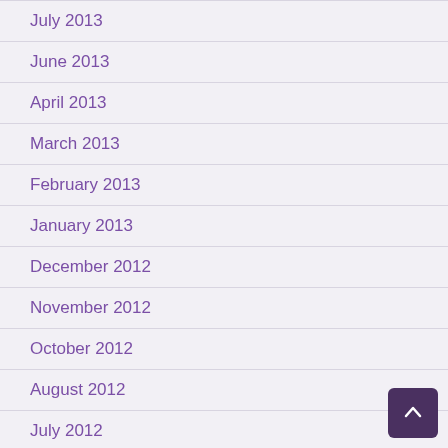July 2013
June 2013
April 2013
March 2013
February 2013
January 2013
December 2012
November 2012
October 2012
August 2012
July 2012
June 2012